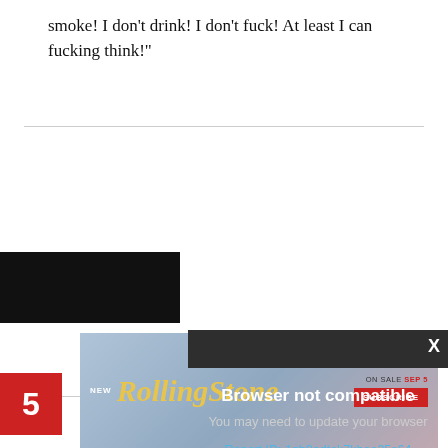smoke! I don't drink! I don't fuck! At least I can fucking think!"
[Figure (screenshot): Browser not compatible modal dialog overlay on a webpage. Modal shows title 'Browser not compatible', subtitle 'You may need to update your browser', and a report ID link 'Report ID: 1gb0odtek7khoa35s64'. Behind the modal is a partially visible webpage with a red number 5 badge, dark band area, and a white box with red 'V' text. At the bottom is a Rolling Stone magazine advertisement with 'NEW', the Rolling Stone logo in yellow, 'ON SALE SEP 5', and a red 'SUBSCRIBE' button.]